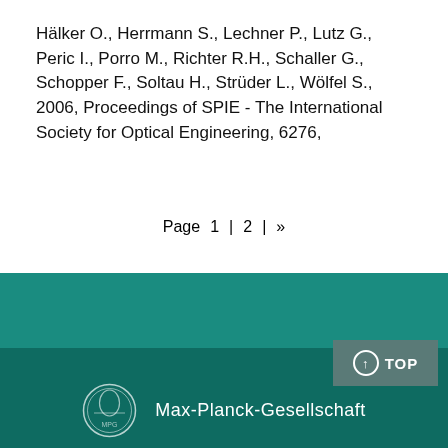Hälker O., Herrmann S., Lechner P., Lutz G., Peric I., Porro M., Richter R.H., Schaller G., Schopper F., Soltau H., Strüder L., Wölfel S., 2006, Proceedings of SPIE - The International Society for Optical Engineering, 6276,
Page 1 | 2 | »
↑ TOP
Max-Planck-Gesellschaft